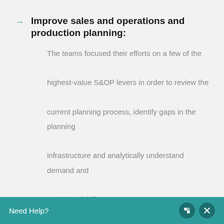Improve sales and operations and production planning: The teams focused their efforts on a few of the highest-value S&OP levers in order to review the current planning process, identify gaps in the planning infrastructure and analytically understand demand and supply variability.
Determine the right inventory level: The diagnostic determined the stressors that affected
Need Help?